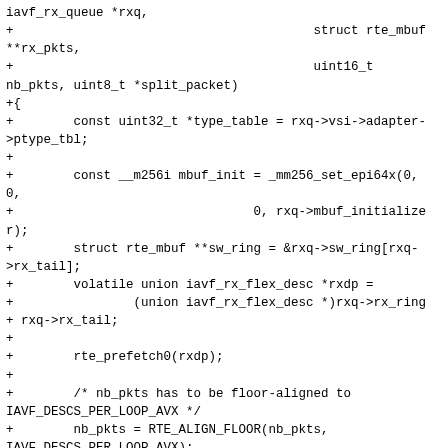iavf_rx_queue *rxq,
+                                        struct rte_mbuf **rx_pkts,
+                                        uint16_t nb_pkts, uint8_t *split_packet)
+{
+        const uint32_t *type_table = rxq->vsi->adapter->ptype_tbl;
+
+        const __m256i mbuf_init = _mm256_set_epi64x(0, 0,
+                                0, rxq->mbuf_initializer);
+        struct rte_mbuf **sw_ring = &rxq->sw_ring[rxq->rx_tail];
+        volatile union iavf_rx_flex_desc *rxdp =
+                (union iavf_rx_flex_desc *)rxq->rx_ring
+ rxq->rx_tail;
+
+        rte_prefetch0(rxdp);
+
+        /* nb_pkts has to be floor-aligned to IAVF_DESCS_PER_LOOP_AVX */
+        nb_pkts = RTE_ALIGN_FLOOR(nb_pkts, IAVF_DESCS_PER_LOOP_AVX);
+
+        /* See if we need to rearm the RX queue - gives the prefetch a bit
+         * of time to act
+         */
+        if (rxq->rxrearm_nb > IAVF_RXQ_REARM_THRESH)